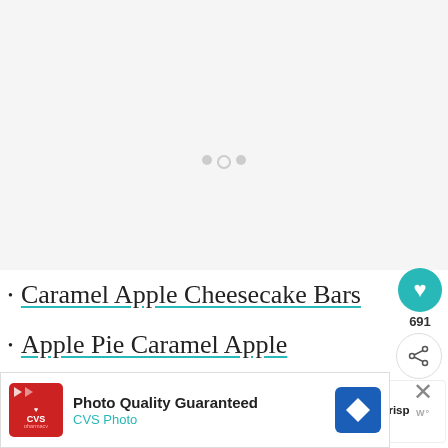[Figure (other): Large image area (loading/placeholder) at top of page with three loading indicator dots]
Caramel Apple Cheesecake Bars
Apple Pie Caramel Apple
Apple Crisp Pizza
Salted Caramel Apple Cups (partially visible)
[Figure (other): WHAT'S NEXT panel showing Apple Crisp Pizza thumbnail with teal arrow]
[Figure (other): Advertisement bar: CVS Photo - Photo Quality Guaranteed with navigation icon and close button]